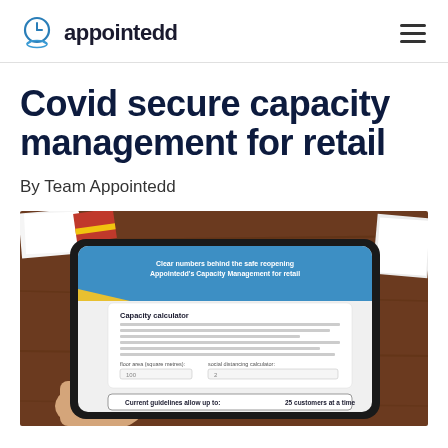appointedd
Covid secure capacity management for retail
By Team Appointedd
[Figure (photo): A hand holding a tablet displaying Appointedd's Capacity Management tool for retail. The tablet screen shows a blue header reading 'Clear numbers behind the safe reopening – Appointedd's Capacity Management for retail', a white 'Capacity calculator' section with form fields and text, and a result box at the bottom reading 'Current guidelines allow up to: 25 customers at a time'. The tablet sits on a wooden table with papers and a red notebook in the background.]